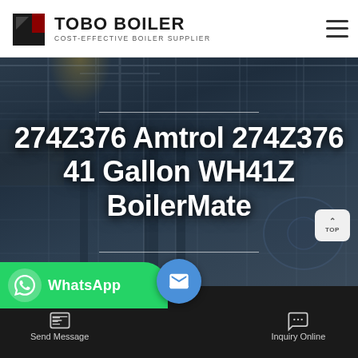[Figure (logo): TOBO BOILER logo with geometric icon and text 'COST-EFFECTIVE BOILER SUPPLIER']
[Figure (photo): Industrial boiler manufacturing facility interior with steel pillars, overhead cranes, and large industrial equipment against a dark blue-grey background]
274Z376 Amtrol 274Z376 41 Gallon WH41Z BoilerMate
[Figure (screenshot): WhatsApp contact button (green) and email/inquiry action bar at the bottom of the page with Send Message and Inquiry Online options]